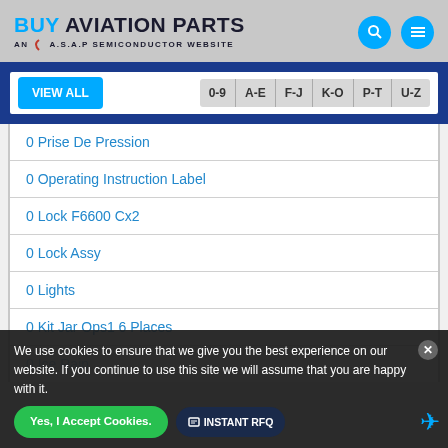BUY AVIATION PARTS — AN A.S.A.P SEMICONDUCTOR WEBSITE
0 Prise De Pression
0 Operating Instruction Label
0 Lock F6600 Cx2
0 Lock Assy
0 Lights
0 Kit Jar Ops1 6 Places
0 Ice Rain
We use cookies to ensure that we give you the best experience on our website. If you continue to use this site we will assume that you are happy with it.